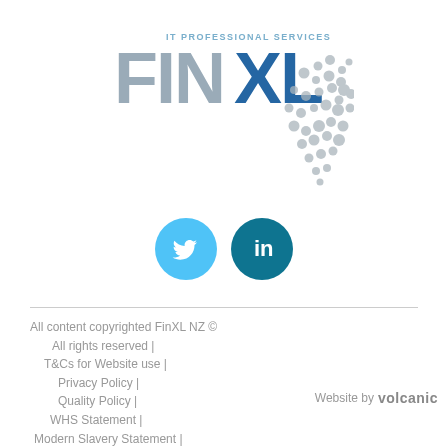[Figure (logo): FinXL IT Professional Services logo with 'FIN' in grey and 'XL' in blue, with a scattered dot pattern to the right]
[Figure (infographic): Twitter (light blue circle with bird icon) and LinkedIn (teal circle with 'in' icon) social media buttons side by side]
All content copyrighted FinXL NZ ©
All rights reserved |
T&Cs for Website use |
Privacy Policy |
Quality Policy |
WHS Statement |
Modern Slavery Statement |
Human Rights Statement |
Legal Notices & Disclaimers
Website by volcanic